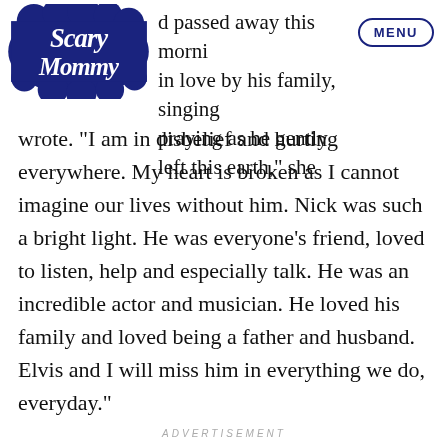Scary Mommy | MENU
d passed away this morni… in love by his family, singing …praying as he gently left this earth,” she wrote. “I am in disbelief and hurting everywhere. My heart is broken as I cannot imagine our lives without him. Nick was such a bright light. He was everyone’s friend, loved to listen, help and especially talk. He was an incredible actor and musician. He loved his family and loved being a father and husband. Elvis and I will miss him in everything we do, everyday.”
ADVERTISEMENT